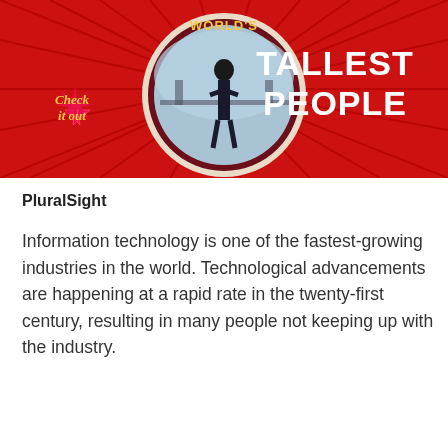[Figure (illustration): Promotional banner with red background and radiating lines. Shows a circular photo of a very tall man standing outdoors. Text reads 'WORLD'S TALLEST PEOPLE' in large white/cream letters. Bottom-left has a star graphic with yellow cursive text 'Check it out'.]
PluralSight
Information technology is one of the fastest-growing industries in the world. Technological advancements are happening at a rapid rate in the twenty-first century, resulting in many people not keeping up with the industry.